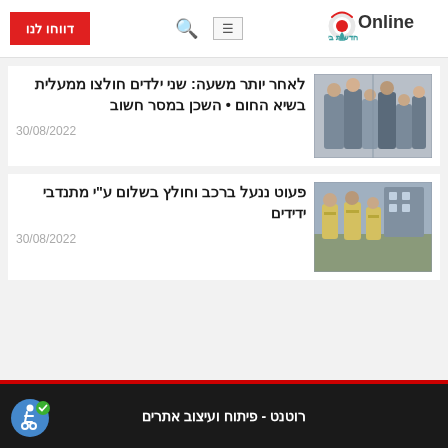Online חדשות ביתר עילית | דווחו לנו
[Figure (photo): Children being rescued from an elevator by emergency responders]
לאחר יותר משעה: שני ילדים חולצו ממעלית בשיא החום • השכן במסר חשוב
30/08/2022
[Figure (photo): Volunteers in yellow vests standing outside on a street]
פעוט ננעל ברכב וחולץ בשלום ע"י מתנדבי ידידים
30/08/2022
רוטנט - פיתוח ועיצוב אתרים